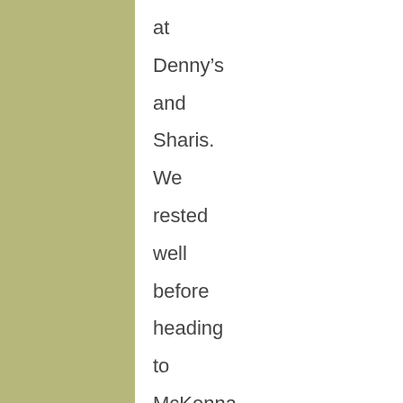at Denny’s and Sharis. We rested well before heading to McKenna to visit Erika’s folks.It was a beautiful day. After we arrived